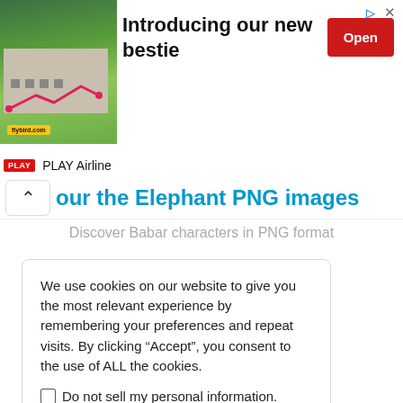[Figure (screenshot): Advertisement banner for PLAY Airline. Shows an image of a building with a pink route path overlay and a yellow label. Text reads 'Introducing our new bestie' with a red 'Open' button. Sponsor label shows PLAY Airline logo.]
our the Elephant PNG images
Discover Babar characters in PNG format
We use cookies on our website to give you the most relevant experience by remembering your preferences and repeat visits. By clicking “Accept”, you consent to the use of ALL the cookies.
Do not sell my personal information.
Cookie Settings   ACCEPT